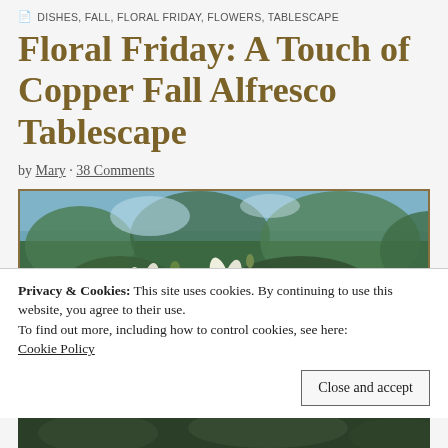DISHES, FALL, FLORAL FRIDAY, FLOWERS, TABLESCAPE
Floral Friday: A Touch of Copper Fall Alfresco Tablescape
by Mary · 38 Comments
[Figure (photo): Outdoor photo showing white flowers in the foreground with blurred green trees and sky in the background]
Privacy & Cookies: This site uses cookies. By continuing to use this website, you agree to their use.
To find out more, including how to control cookies, see here:
Cookie Policy
[Figure (photo): Partial bottom photo showing dark outdoor foliage scene]